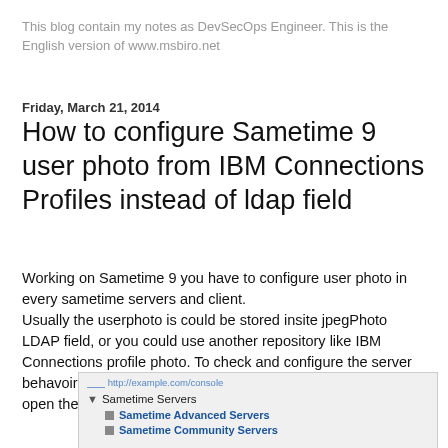This blog contain my notes as DevSecOps Engineer. This is the English version of www.msbiro.net
Friday, March 21, 2014
How to configure Sametime 9 user photo from IBM Connections Profiles instead of ldap field
Working on Sametime 9 you have to configure user photo in every sametime servers and client.
Usually the userphoto is could be stored insite jpegPhoto LDAP field, or you could use another repository like IBM Connections profile photo. To check and configure the server behavoir, we have to use the Sametime System Console and open the relative server configuration.
[Figure (screenshot): Screenshot showing a tree navigation panel with 'Sametime Servers' folder expanded, showing 'Sametime Advanced Servers' and 'Sametime Community Servers' sub-items.]